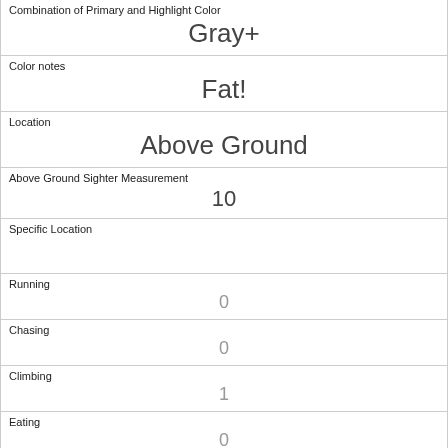| Combination of Primary and Highlight Color | Gray+ |
| Color notes | Fat! |
| Location | Above Ground |
| Above Ground Sighter Measurement | 10 |
| Specific Location |  |
| Running | 0 |
| Chasing | 0 |
| Climbing | 1 |
| Eating | 0 |
| Foraging | 0 |
| Other Activities |  |